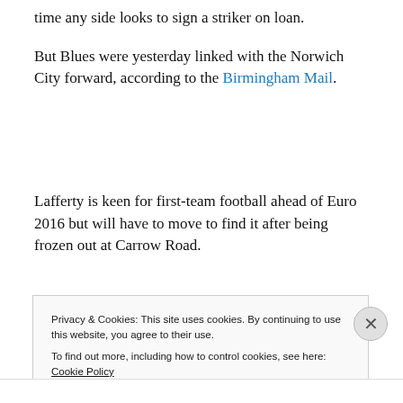time any side looks to sign a striker on loan.
But Blues were yesterday linked with the Norwich City forward, according to the Birmingham Mail.
Lafferty is keen for first-team football ahead of Euro 2016 but will have to move to find it after being frozen out at Carrow Road.
Privacy & Cookies: This site uses cookies. By continuing to use this website, you agree to their use.
To find out more, including how to control cookies, see here: Cookie Policy
Close and accept